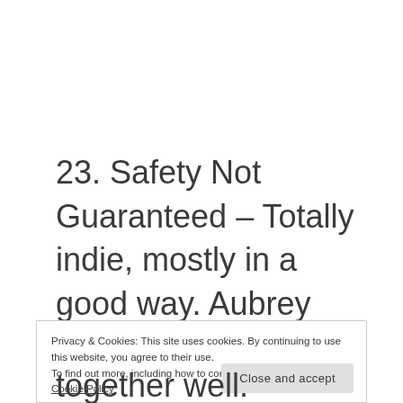23. Safety Not Guaranteed – Totally indie, mostly in a good way. Aubrey Plaza is hilarious in every role she plays.
Privacy & Cookies: This site uses cookies. By continuing to use this website, you agree to their use.
To find out more, including how to control cookies, see here: Cookie Policy
Close and accept
together well.